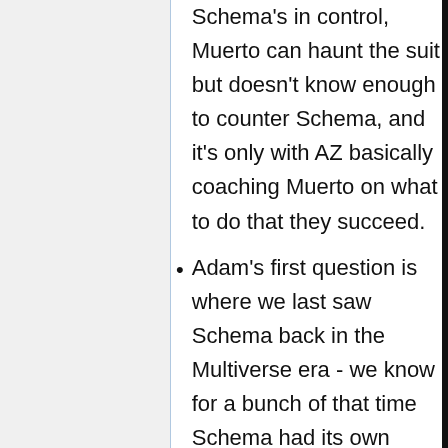Schema's in control, Muerto can haunt the suit but doesn't know enough to counter Schema, and it's only with AZ basically coaching Muerto on what to do that they succeed.
Adam's first question is where we last saw Schema back in the Multiverse era - we know for a bunch of that time Schema had its own form. At some point in the 2010s there was a story where the “body” was destroyed and it was assumed that the code was as well and that it'd never be back. Obviously that wasn't true, but they quickly got into OblivAeon-related crunch time and they couldn't...